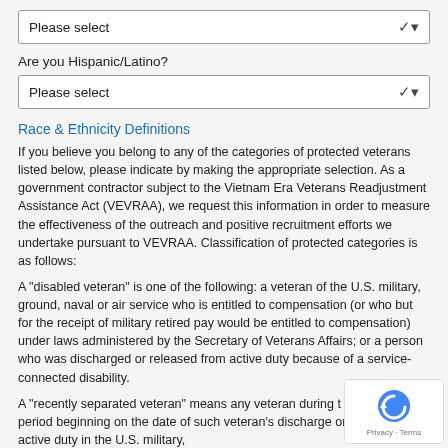Please select
Are you Hispanic/Latino?
Please select
Race & Ethnicity Definitions
If you believe you belong to any of the categories of protected veterans listed below, please indicate by making the appropriate selection. As a government contractor subject to the Vietnam Era Veterans Readjustment Assistance Act (VEVRAA), we request this information in order to measure the effectiveness of the outreach and positive recruitment efforts we undertake pursuant to VEVRAA. Classification of protected categories is as follows:
A "disabled veteran" is one of the following: a veteran of the U.S. military, ground, naval or air service who is entitled to compensation (or who but for the receipt of military retired pay would be entitled to compensation) under laws administered by the Secretary of Veterans Affairs; or a person who was discharged or released from active duty because of a service-connected disability.
A "recently separated veteran" means any veteran during the three-year period beginning on the date of such veteran's discharge or release from active duty in the U.S. military,